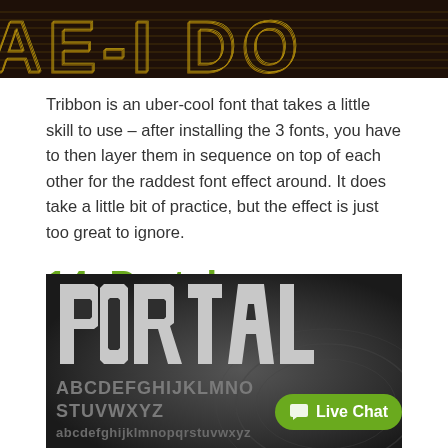[Figure (illustration): Decorative heading image showing large styled letters 'AE-I BO' in gold/brown Art Deco layered font on dark brown background, partially cropped]
Tribbon is an uber-cool font that takes a little skill to use – after installing the 3 fonts, you have to then layer them in sequence on top of each other for the raddest font effect around. It does take a little bit of practice, but the effect is just too great to ignore.
14. Portal
[Figure (illustration): Dark gray background showing the word PORTAL in large white beveled/chamfered block letters, followed by alphabet characters in smaller gray font on two rows, with a green 'Live Chat' button overlay in bottom right]